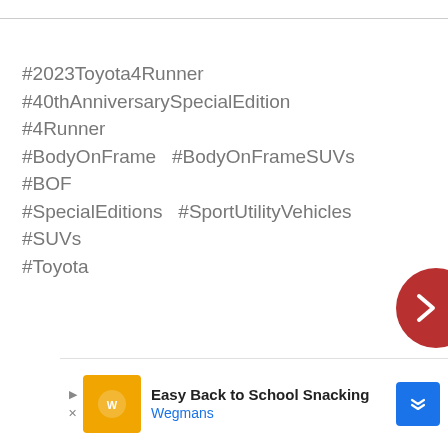#2023Toyota4Runner #40thAnniversarySpecialEdition  #4Runner #BodyOnFrame  #BodyOnFrameSUVs  #BOF #SpecialEditions  #SportUtilityVehicles  #SUVs #Toyota
[Figure (other): Red circular navigation button with a right-pointing chevron arrow, partially visible at the right edge of the page]
[Figure (other): Advertisement banner: Easy Back to School Snacking by Wegmans, with orange logo image and blue navigation arrow icon]